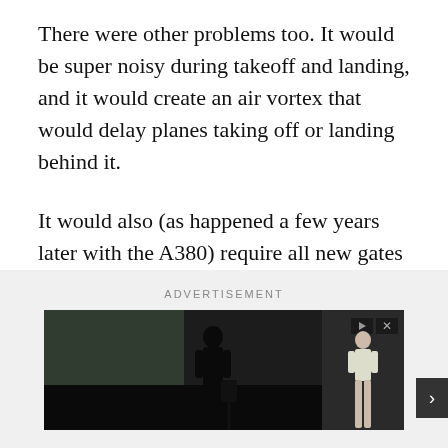There were other problems too. It would be super noisy during takeoff and landing, and it would create an air vortex that would delay planes taking off or landing behind it.
It would also (as happened a few years later with the A380) require all new gates to be built and new service vehicles to perform turnaround tasks. Additionally, it would take a long time to board passengers.
[Figure (photo): Advertisement banner showing a dark background with a silhouette of a person with luggage, and a smaller panel on the right side with play and close icons. ADVERTISEMENT label above.]